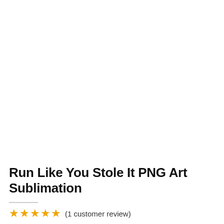Run Like You Stole It PNG Art Sublimation
(1 customer review)